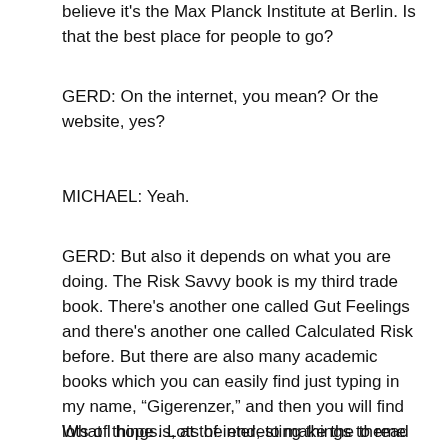believe it's the Max Planck Institute at Berlin. Is that the best place for people to go?
GERD: On the internet, you mean? Or the website, yes?
MICHAEL: Yeah.
GERD: But also it depends on what you are doing. The Risk Savvy book is my third trade book. There's another one called Gut Feelings and there's another one called Calculated Risk before. But there are also many academic books which you can easily find just typing in my name, “Gigerenzer,” and then you will find lots of things. Lots of interesting things to read and think and challenge you.
What I hope is, at the end, to make the theme of